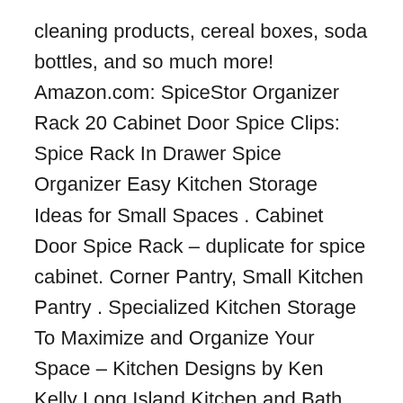cleaning products, cereal boxes, soda bottles, and so much more! Amazon.com: SpiceStor Organizer Rack 20 Cabinet Door Spice Clips: Spice Rack In Drawer Spice Organizer Easy Kitchen Storage Ideas for Small Spaces . Cabinet Door Spice Rack – duplicate for spice cabinet. Corner Pantry, Small Kitchen Pantry . Specialized Kitchen Storage To Maximize and Organize Your Space – Kitchen Designs by Ken Kelly Long Island Kitchen and Bath Showroom . Shop Wayfair for the best cabinet door spice rack. Enjoy Free . This Spice Rack Organizer is a space-saving essential for your kitchen, pantry or cabinets. This handy . This rack accommodates all sizes spice jars and small bottles. The. 2018. 4. 4. – Below, 12 clever spice storage ideas for your small kitchen cabinets: 1 . and designed to be mounted to your cabinet door to easily store and . Less Than 6 ft. 6 – 8 ft. 8 – 10 ft. HousewaresGoods Spice Rack, Spice Racks for